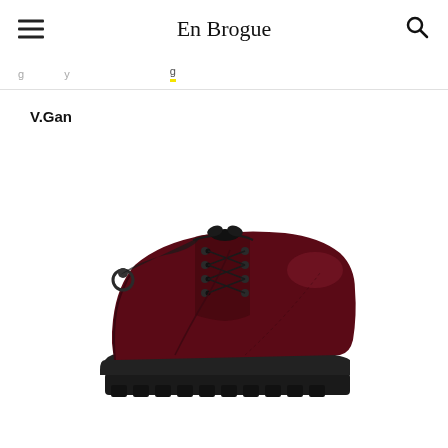En Brogue
V.Gan
[Figure (photo): A dark burgundy/oxblood lace-up oxford shoe with chunky black lug sole, shown in profile view against a white background. The shoe has a high-shine patent leather-like finish, metal eyelets, and a back ring pull tab.]